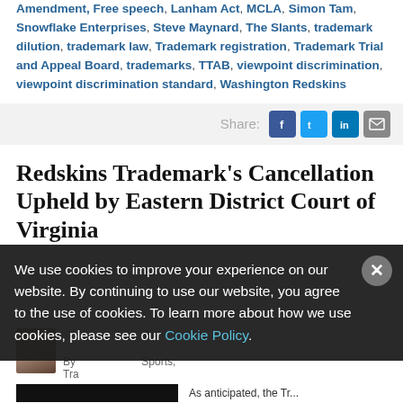Amendment, Free speech, Lanham Act, MCLA, Simon Tam, Snowflake Enterprises, Steve Maynard, The Slants, trademark dilution, trademark law, Trademark registration, Trademark Trial and Appeal Board, trademarks, TTAB, viewpoint discrimination, viewpoint discrimination standard, Washington Redskins
Share: [Facebook] [Twitter] [LinkedIn] [Email]
Redskins Trademark's Cancellation Upheld by Eastern District Court of Virginia
[Figure (screenshot): Cookie consent overlay on dark background with close button: 'We use cookies to improve your experience on our website. By continuing to use our website, you agree to the use of cookies. To learn more about how we use cookies, please see our Cookie Policy.']
By ... Sports, Tra... As anticipated, the Tr...